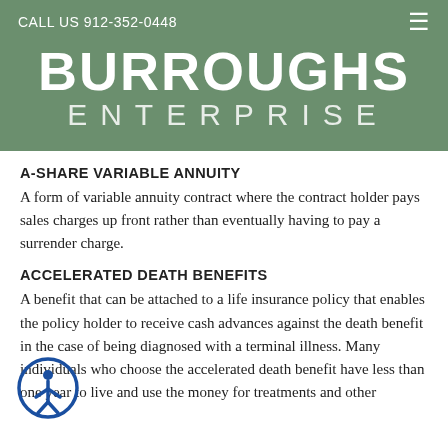CALL US 912-352-0448
BURROUGHS ENTERPRISE
A-SHARE VARIABLE ANNUITY
A form of variable annuity contract where the contract holder pays sales charges up front rather than eventually having to pay a surrender charge.
ACCELERATED DEATH BENEFITS
A benefit that can be attached to a life insurance policy that enables the policy holder to receive cash advances against the death benefit in the case of being diagnosed with a terminal illness. Many individuals who choose the accelerated death benefit have less than one year to live and use the money for treatments and other